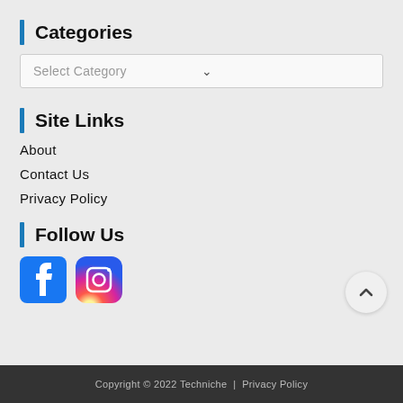Categories
Select Category
Site Links
About
Contact Us
Privacy Policy
Follow Us
[Figure (logo): Facebook and Instagram social media icons]
Copyright © 2022 Techniche | Privacy Policy